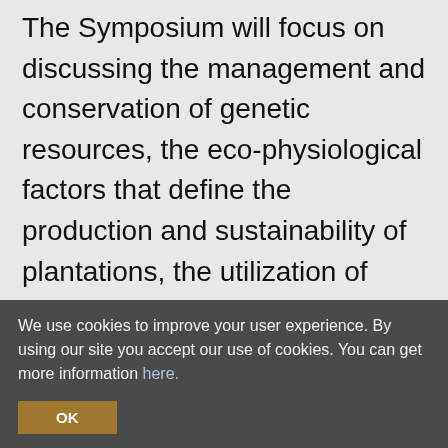The Symposium will focus on discussing the management and conservation of genetic resources, the eco-physiological factors that define the production and sustainability of plantations, the utilization of technologies that maximize the genetic potential for obtaining timber and non-timber products and preserving or recovering degraded environments. Scientific progress in poplar and willow research is advancing with new tools and technology that address social, economic and ecological changes throughout
We use cookies to improve your user experience. By using our site you accept our use of cookies. You can get more information here.